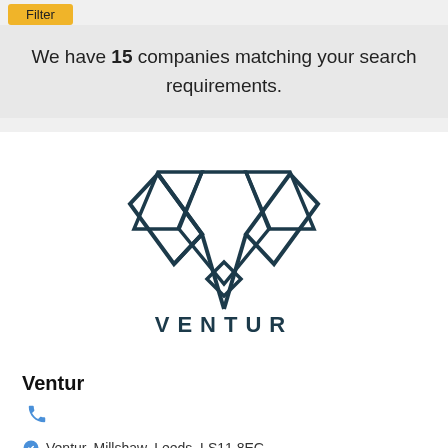Filter
We have 15 companies matching your search requirements.
[Figure (logo): Ventur company logo — geometric V/chevron shape made of outlined triangles with the word VENTUR in spaced capital letters below]
Ventur
📞
Ventur, Millshaw, Leeds, LS11 8EG